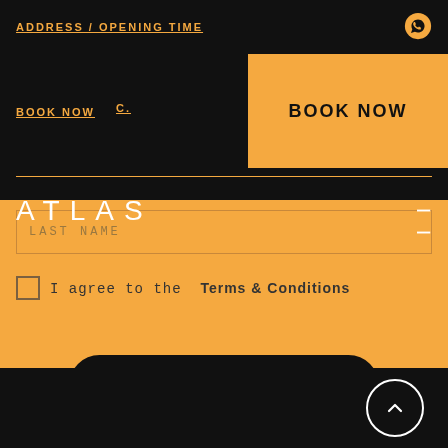ADDRESS / OPENING TIME
BOOK NOW
ATLAS
LAST NAME
I agree to the Terms & Conditions
Join The Newsletter